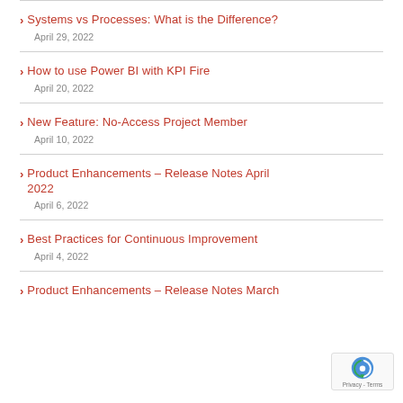Systems vs Processes: What is the Difference? — April 29, 2022
How to use Power BI with KPI Fire — April 20, 2022
New Feature: No-Access Project Member — April 10, 2022
Product Enhancements – Release Notes April 2022 — April 6, 2022
Best Practices for Continuous Improvement — April 4, 2022
Product Enhancements – Release Notes March